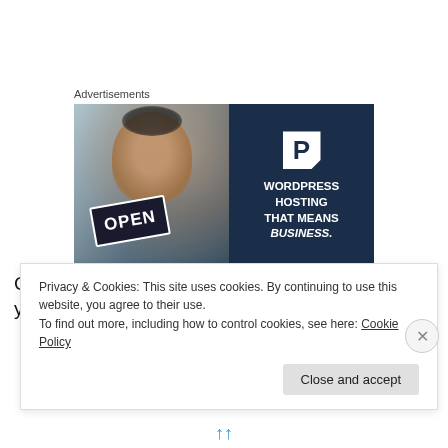Advertisements
[Figure (screenshot): WordPress hosting advertisement banner. Left half shows a photo of a woman holding an OPEN sign in a shop window. Right half is dark navy blue with a P logo and text: WORDPRESS HOSTING THAT MEANS BUSINESS.]
Canned, store in a cool, dark spot for up to 1 year.
Privacy & Cookies: This site uses cookies. By continuing to use this website, you agree to their use.
To find out more, including how to control cookies, see here: Cookie Policy
Close and accept